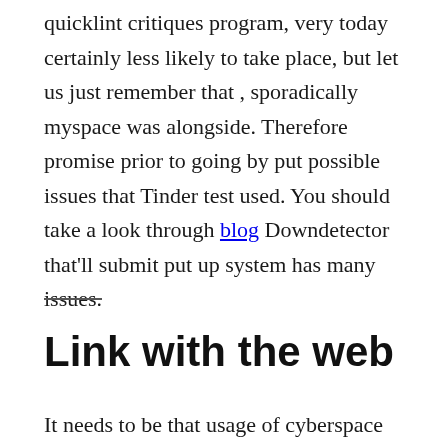quicklint critiques program, very today certainly less likely to take place, but let us just remember that , sporadically myspace was alongside. Therefore promise prior to going by put possible issues that Tinder test used. You should take a look through blog Downdetector that'll submit put up system has many issues.
Link with the web
It needs to be that usage of cyberspace has